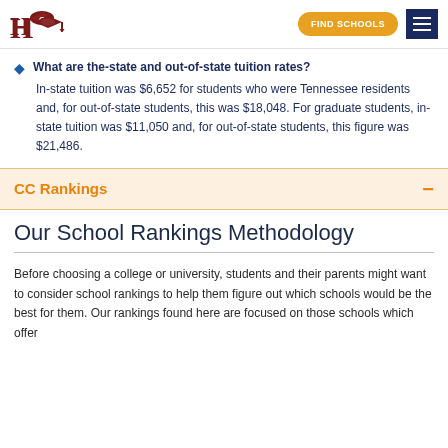HQ | FIND SCHOOLS
What are the-state and out-of-state tuition rates?
In-state tuition was $6,652 for students who were Tennessee residents and, for out-of-state students, this was $18,048. For graduate students, in-state tuition was $11,050 and, for out-of-state students, this figure was $21,486.
CC Rankings
Our School Rankings Methodology
Before choosing a college or university, students and their parents might want to consider school rankings to help them figure out which schools would be the best for them. Our rankings found here are focused on those schools which offer